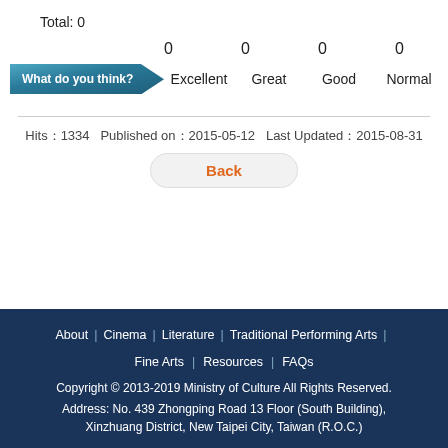Total: 0
0   0   0   0  —  Excellent   Great   Good   Normal
Hits：1334   Published on：2015-05-12   Last Updated：2015-08-31
Back
About | Cinema | Literature | Traditional Performing Arts | Fine Arts | Resources | FAQs
Copyright © 2013-2019 Ministry of Culture All Rights Reserved.
Address: No. 439 Zhongping Road 13 Floor (South Building), Xinzhuang District, New Taipei City, Taiwan (R.O.C.)